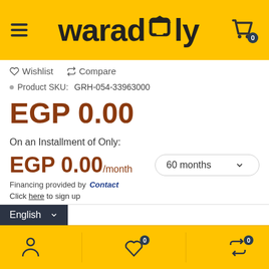[Figure (screenshot): Waradly e-commerce header with yellow background, hamburger menu, waradly logo, and shopping cart icon with badge showing 0]
♡ Wishlist   ⇄ Compare
• Product SKU:   GRH-054-33963000
EGP 0.00
On an Installment of Only:
EGP 0.00/month   60 months ∨
Financing provided by Contact
Click here to sign up
English ∨
[Figure (screenshot): Yellow footer bar with user icon, heart/wishlist icon with badge 0, and compare icon with badge 0]